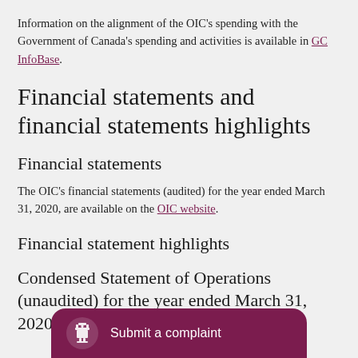Information on the alignment of the OIC's spending with the Government of Canada's spending and activities is available in GC InfoBase.
Financial statements and financial statements highlights
Financial statements
The OIC's financial statements (audited) for the year ended March 31, 2020, are available on the OIC website.
Financial statement highlights
Condensed Statement of Operations (unaudited) for the year ended March 31, 2020 (do...
[Figure (other): Dark purple/maroon rounded tab at bottom of page with a Canadian government crest icon and text 'Submit a complaint']